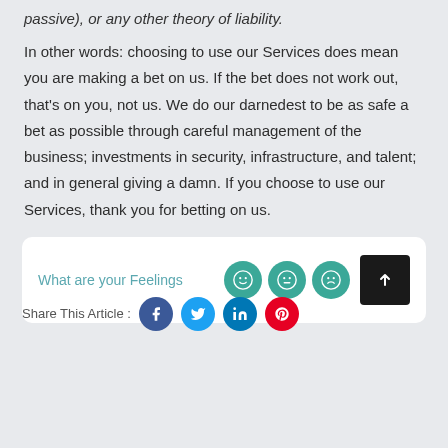passive), or any other theory of liability.
In other words: choosing to use our Services does mean you are making a bet on us. If the bet does not work out, that's on you, not us. We do our darnedest to be as safe a bet as possible through careful management of the business; investments in security, infrastructure, and talent; and in general giving a damn. If you choose to use our Services, thank you for betting on us.
What are your Feelings
Share This Article :